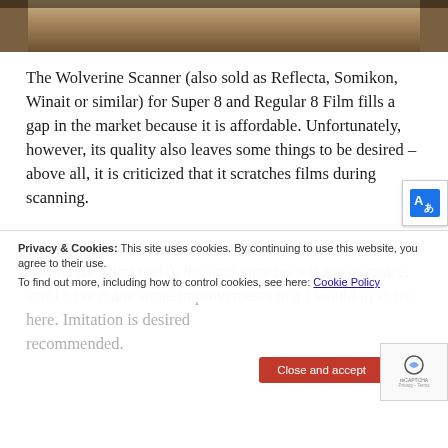[Figure (photo): Top portion of a photo showing what appears to be a wooden surface or table, partially cropped at the top of the page]
The Wolverine Scanner (also sold as Reflecta, Somikon, Winait or similar) for Super 8 and Regular 8 Film fills a gap in the market because it is affordable. Unfortunately, however, its quality also leaves some things to be desired – above all, it is criticized that it scratches films during scanning.
After I purchased such a device (the Pro version, which also holds 120m reels), the inadequacies left me no peace, and I have made some improvements that I would to share here. Imitation is desired recommended.
Privacy & Cookies: This site uses cookies. By continuing to use this website, you agree to their use. To find out more, including how to control cookies, see here: Cookie Policy